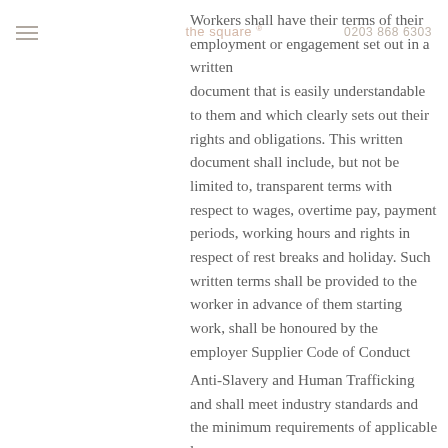the square  0203 868 6303
Workers shall have their terms of their employment or engagement set out in a written document that is easily understandable to them and which clearly sets out their rights and obligations. This written document shall include, but not be limited to, transparent terms with respect to wages, overtime pay, payment periods, working hours and rights in respect of rest breaks and holiday. Such written terms shall be provided to the worker in advance of them starting work, shall be honoured by the employer Supplier Code of Conduct
Anti-Slavery and Human Trafficking and shall meet industry standards and the minimum requirements of applicable laws